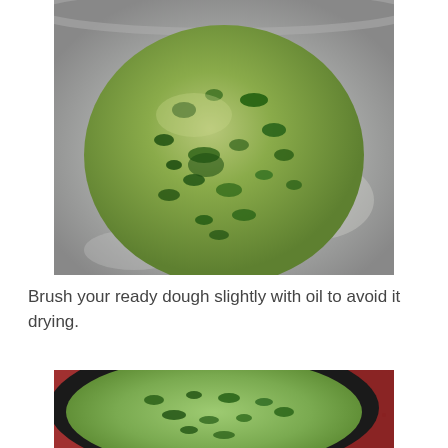[Figure (photo): A ball of green herb-flecked dough in a stainless steel bowl, viewed from above.]
Brush your ready dough slightly with oil to avoid it drying.
[Figure (photo): Green herb dough flattened and spread in a dark round pan, viewed from above, on a granite surface.]